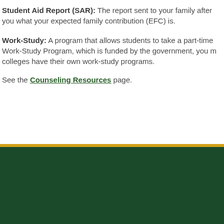Student Aid Report (SAR): The report sent to your family after you what your expected family contribution (EFC) is.
Work-Study: A program that allows students to take a part-time Work-Study Program, which is funded by the government, you m colleges have their own work-study programs.
See the Counseling Resources page.
CRS faith. action. results. CATHOLIC RELIEF SERVICES SILVER GLOBAL HIGH SCHOOL © 2022 Allentown 301 N Fourth Street, Allentown, PA 18102-3 PRIVACY POLICY Questions or comme